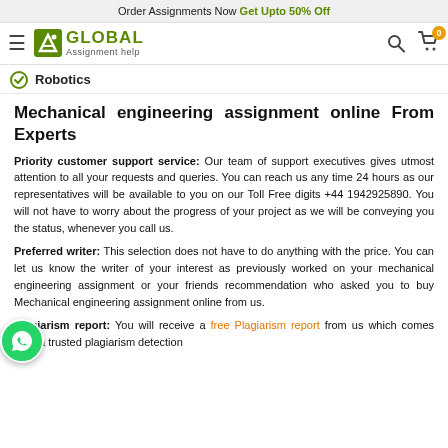Order Assignments Now Get Upto 50% Off
[Figure (logo): Global Assignment Help logo with hamburger menu, search and cart icons]
Robotics
Mechanical engineering assignment online From Experts
Priority customer support service: Our team of support executives gives utmost attention to all your requests and queries. You can reach us any time 24 hours as our representatives will be available to you on our Toll Free digits +44 1942925890. You will not have to worry about the progress of your project as we will be conveying you the status, whenever you call us.
Preferred writer: This selection does not have to do anything with the price. You can let us know the writer of your interest as previously worked on your mechanical engineering assignment or your friends recommendation who asked you to buy Mechanical engineering assignment online from us.
Plagiarism report: You will receive a free Plagiarism report from us which comes from a trusted plagiarism detection